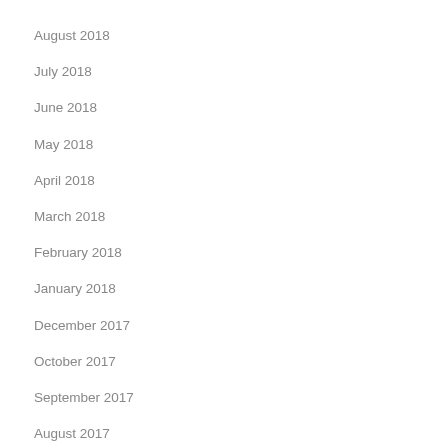August 2018
July 2018
June 2018
May 2018
April 2018
March 2018
February 2018
January 2018
December 2017
October 2017
September 2017
August 2017
July 2017